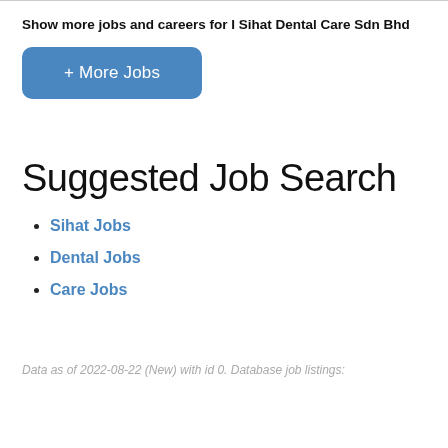Show more jobs and careers for I Sihat Dental Care Sdn Bhd
+ More Jobs
Suggested Job Search
Sihat Jobs
Dental Jobs
Care Jobs
Data as of 2022-08-22 (New) with id 0. Database job listings: